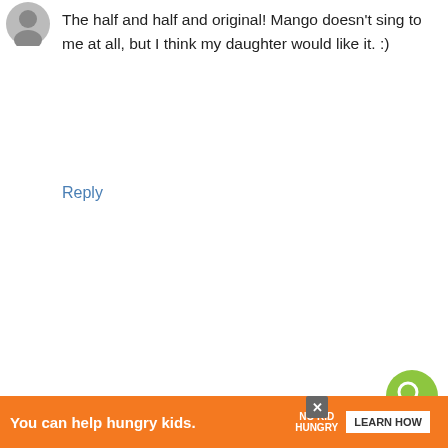[Figure (illustration): Small user avatar icon top left, grayscale sketch style]
The half and half and original! Mango doesn't sing to me at all, but I think my daughter would like it. :)
Reply
[Figure (illustration): Green circular search button with magnifying glass icon]
[Figure (illustration): Orange circular Blogger avatar icon]
UNKNOWN July 7, 2014 at 11:26 PM
Id love to try the mint. We just started doing infused water at home so I think this would be delicious.
[Figure (illustration): White circular heart/like button with count of 1]
[Figure (illustration): White circular share button]
Reply
[Figure (illustration): What's Next thumbnail showing Oven-Roasted Tomatoes]
[Figure (illustration): Orange circular Blogger avatar icon for BULLYK9R]
BULLYK9R July 7, 2014 at 11:49 PM
[Figure (illustration): Orange ad banner: You can help hungry kids. No Kid Hungry. Learn How. With close X button.]